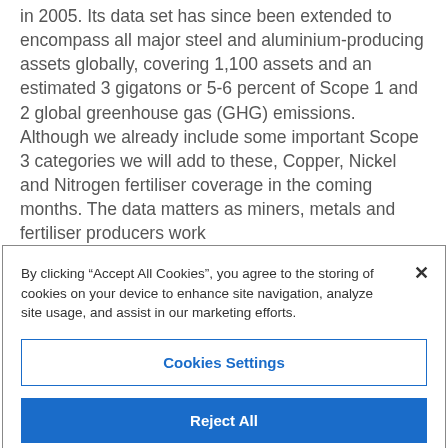in 2005. Its data set has since been extended to encompass all major steel and aluminium-producing assets globally, covering 1,100 assets and an estimated 3 gigatons or 5-6 percent of Scope 1 and 2 global greenhouse gas (GHG) emissions. Although we already include some important Scope 3 categories we will add to these, Copper, Nickel and Nitrogen fertiliser coverage in the coming months. The data matters as miners, metals and fertiliser producers work
By clicking “Accept All Cookies”, you agree to the storing of cookies on your device to enhance site navigation, analyze site usage, and assist in our marketing efforts.
Cookies Settings
Reject All